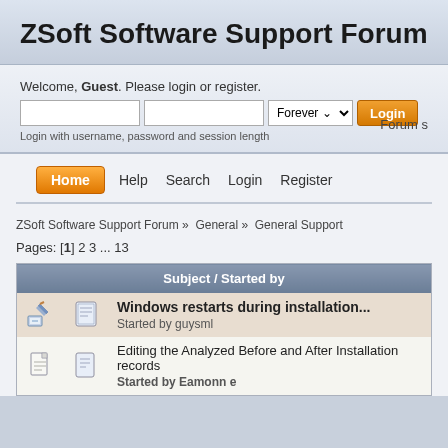ZSoft Software Support Forum
Welcome, Guest. Please login or register.
Login with username, password and session length
Forum s
Home  Help  Search  Login  Register
ZSoft Software Support Forum » General » General Support
Pages: [1] 2 3 ... 13
| Subject / Started by |
| --- |
| Windows restarts during installation...
Started by guysml |
| Editing the Analyzed Before and After Installation records
Started by Eamonn e |